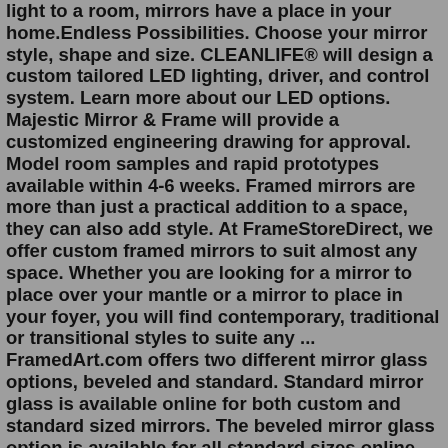light to a room, mirrors have a place in your home.Endless Possibilities. Choose your mirror style, shape and size. CLEANLIFE® will design a custom tailored LED lighting, driver, and control system. Learn more about our LED options. Majestic Mirror & Frame will provide a customized engineering drawing for approval. Model room samples and rapid prototypes available within 4-6 weeks. Framed mirrors are more than just a practical addition to a space, they can also add style. At FrameStoreDirect, we offer custom framed mirrors to suit almost any space. Whether you are looking for a mirror to place over your mantle or a mirror to place in your foyer, you will find contemporary, traditional or transitional styles to suite any ... FramedArt.com offers two different mirror glass options, beveled and standard. Standard mirror glass is available online for both custom and standard sized mirrors. The beveled mirror glass option is available for all standard sizes online and by request for custom sizes. Value Mirrors From $76.99 to $209.99 View All. Book a consultation.